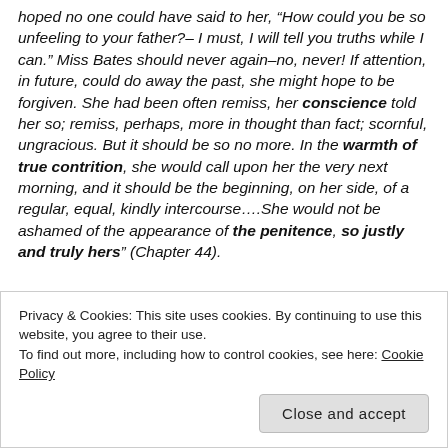hoped no one could have said to her, “How could you be so unfeeling to your father?– I must, I will tell you truths while I can.” Miss Bates should never again–no, never! If attention, in future, could do away the past, she might hope to be forgiven. She had been often remiss, her conscience told her so; remiss, perhaps, more in thought than fact; scornful, ungracious. But it should be so no more. In the warmth of true contrition, she would call upon her the very next morning, and it should be the beginning, on her side, of a regular, equal, kindly intercourse….She would not be ashamed of the appearance of the penitence, so justly and truly hers” (Chapter 44).
Privacy & Cookies: This site uses cookies. By continuing to use this website, you agree to their use.
To find out more, including how to control cookies, see here: Cookie Policy